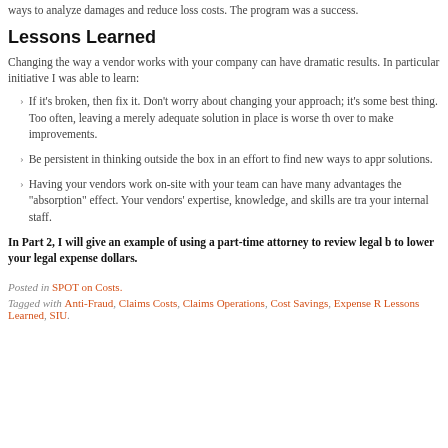ways to analyze damages and reduce loss costs. The program was a success.
Lessons Learned
Changing the way a vendor works with your company can have dramatic results. In particular initiative I was able to learn:
If it's broken, then fix it. Don't worry about changing your approach; it's some best thing. Too often, leaving a merely adequate solution in place is worse th over to make improvements.
Be persistent in thinking outside the box in an effort to find new ways to appr solutions.
Having your vendors work on-site with your team can have many advantages the "absorption" effect. Your vendors' expertise, knowledge, and skills are tra your internal staff.
In Part 2, I will give an example of using a part-time attorney to review legal b to lower your legal expense dollars.
Posted in SPOT on Costs.
Tagged with Anti-Fraud, Claims Costs, Claims Operations, Cost Savings, Expense R Lessons Learned, SIU.